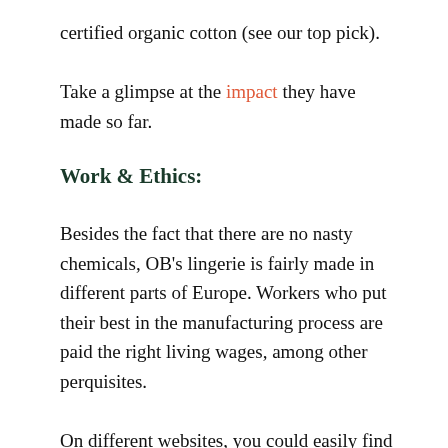certified organic cotton (see our top pick).
Take a glimpse at the impact they have made so far.
Work & Ethics:
Besides the fact that there are no nasty chemicals, OB's lingerie is fairly made in different parts of Europe. Workers who put their best in the manufacturing process are paid the right living wages, among other perquisites.
On different websites, you could easily find out that Organic Basics is rated “Good” in terms of being a sustainable and ethical clothing brand. In addition to recycling fabrics, water, and other resources, they also